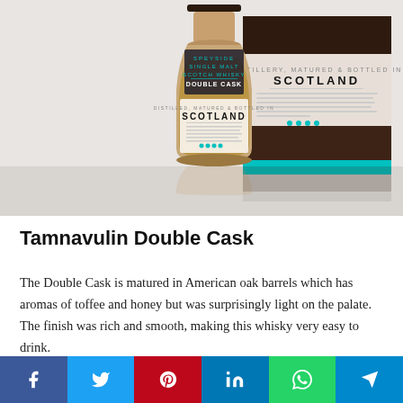[Figure (photo): Photo of Tamnavulin Double Cask Speyside Single Malt Scotch Whisky bottle next to its dark brown and teal gift box, with reflection on white surface]
Tamnavulin Double Cask
The Double Cask is matured in American oak barrels which has aromas of toffee and honey but was surprisingly light on the palate. The finish was rich and smooth, making this whisky very easy to drink.
[Figure (infographic): Social media sharing bar with buttons for Facebook, Twitter, Pinterest, LinkedIn, WhatsApp, and Telegram]